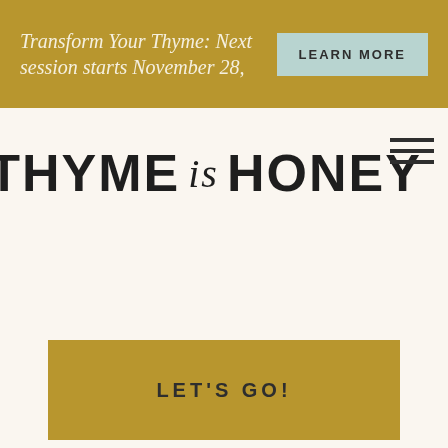Transform Your Thyme: Next session starts November 28,
THYME is HONEY
[Figure (other): Hamburger menu icon with three horizontal lines]
LET'S GO!